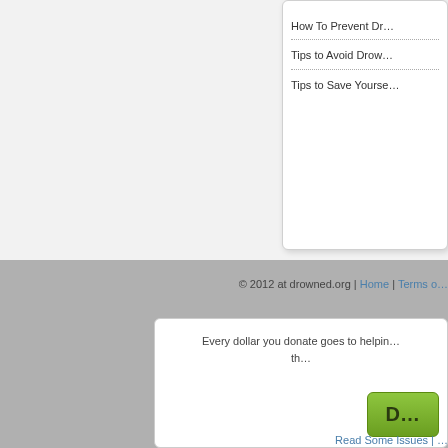How To Prevent Dr…
Tips to Avoid Drow…
Tips to Save Yourse…
© 2012 at drowned.org | Home | Terms o…
Every dollar you donate goes to helpin… th…
D…
Read Some Issues | …